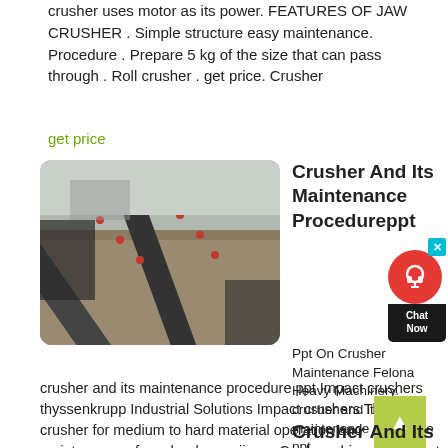crusher uses motor as its power. FEATURES OF JAW CRUSHER . Simple structure easy maintenance. Procedure . Prepare 5 kg of the size that can pass through . Roll crusher . get price. Crusher
get price
[Figure (photo): Industrial conveyor belts carrying crushed stone/gravel at a mining or quarrying facility, viewed from above at an angle. Heavy machinery and belts transporting material.]
Crusher And Its Maintenance Procedureppt
Ppt On Crusher Maintenance Felona Heavy Machinery. crusher and its maintenance procedure ppt. crusher and its maintenance procedure ppt Impact crushers thyssenkrupp Industrial Solutions Impact crushers The ideal crusher for medium to hard material operation and maintenance of crusher house ijmerr Coal crushing equipment of coal handling plant
get price
Crusher And Its